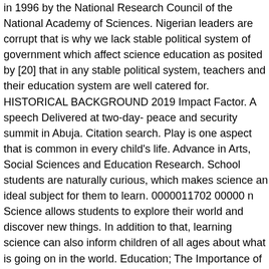in 1996 by the National Research Council of the National Academy of Sciences. Nigerian leaders are corrupt that is why we lack stable political system of government which affect science education as posited by [20] that in any stable political system, teachers and their education system are well catered for. HISTORICAL BACKGROUND 2019 Impact Factor. A speech Delivered at two-day- peace and security summit in Abuja. Citation search. Play is one aspect that is common in every child's life. Advance in Arts, Social Sciences and Education Research. School students are naturally curious, which makes science an ideal subject for them to learn. 0000011702 00000 n Science allows students to explore their world and discover new things. In addition to that, learning science can also inform children of all ages about what is going on in the world. Education; The Importance of Learning Science: Teaching Strategies for Today's Educators; Resource Articles // The Importance of Learning Science: